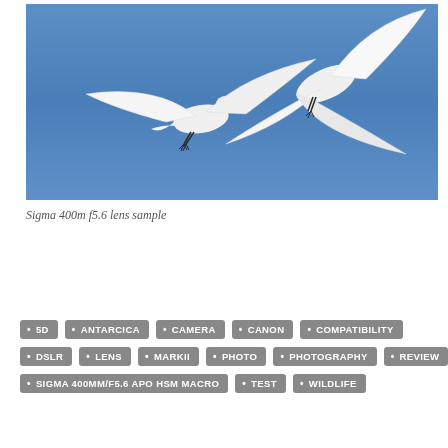[Figure (photo): Two white seagulls in flight against a blue sky, wings spread wide, appearing to interact mid-air]
Sigma 400m f5.6 lens sample
5D
ANTARCICA
CAMERA
CANON
COMPATIBILITY
DSLR
LENS
MARKII
PHOTO
PHOTOGRAPHY
REVIEW
SIGMA 400MM/F5.6 APO HSM MACRO
TEST
WILDLIFE